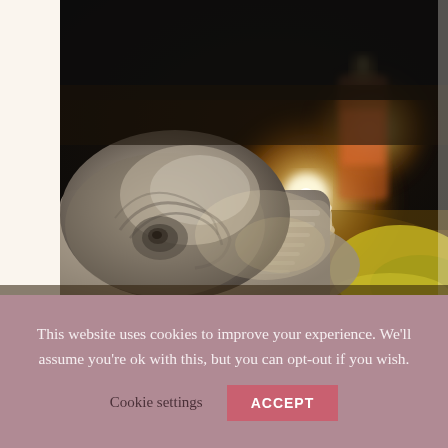[Figure (photo): A spa scene with a rolled grey towel in the foreground, lit candles (one tealight and one larger cylindrical candle with decorative label), and a yellow/green cloth, all photographed with a dark background and warm bokeh lighting.]
This website uses cookies to improve your experience. We'll assume you're ok with this, but you can opt-out if you wish.
Cookie settings   ACCEPT